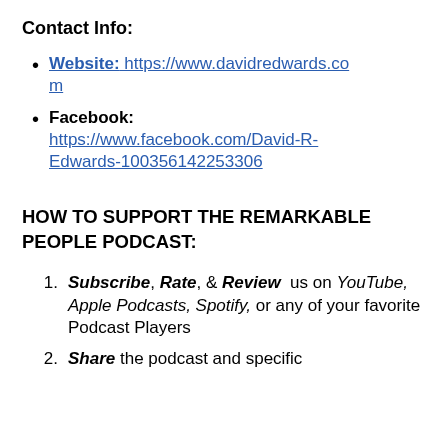Contact Info:
Website: https://www.davidredwards.com
Facebook: https://www.facebook.com/David-R-Edwards-100356142253306
HOW TO SUPPORT THE REMARKABLE PEOPLE PODCAST:
Subscribe, Rate, & Review us on YouTube, Apple Podcasts, Spotify, or any of your favorite Podcast Players
Share the podcast and specific